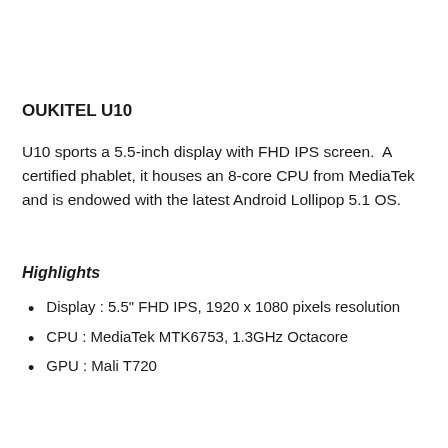OUKITEL U10
U10 sports a 5.5-inch display with FHD IPS screen.  A certified phablet, it houses an 8-core CPU from MediaTek and is endowed with the latest Android Lollipop 5.1 OS.
Highlights
Display : 5.5" FHD IPS, 1920 x 1080 pixels resolution
CPU : MediaTek MTK6753, 1.3GHz Octacore
GPU : Mali T720